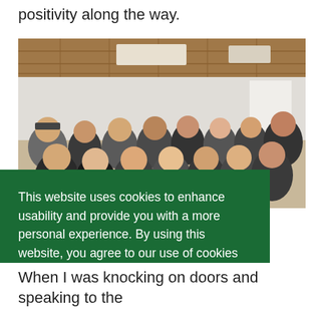positivity along the way.
[Figure (photo): Group photo of approximately 25-30 people smiling in an indoor room with wood-paneled ceiling]
This website uses cookies to enhance usability and provide you with a more personal experience. By using this website, you agree to our use of cookies as explained in our Privacy Policy.
Agree
When I was knocking on doors and speaking to the